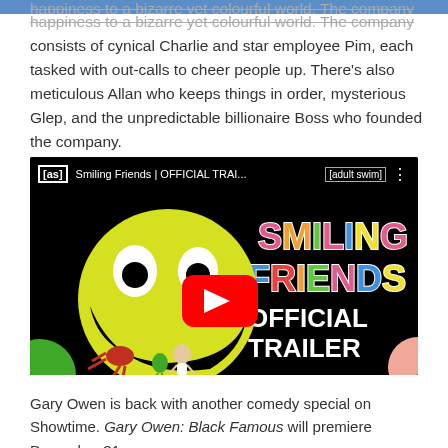happiness to a bizarre yet colourful world. The company consists of cynical Charlie and star employee Pim, each tasked with out-calls to cheer people up. There's also meticulous Allan who keeps things in order, mysterious Glep, and the unpredictable billionaire Boss who founded the company.
[Figure (screenshot): YouTube video thumbnail for 'Smiling Friends | OFFICIAL TRAILER' by [as] (Adult Swim). Shows a large yellow cartoon smiley face character with big eyes and wide grin, with small cartoon creatures inside its mouth. Right side shows colorful text reading 'SMILING FRIENDS OFFICIAL TRAILER'. A red YouTube play button is overlaid in the center.]
Gary Owen is back with another comedy special on Showtime. Gary Owen: Black Famous will premiere December 31.